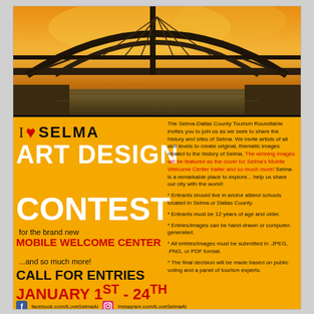[Figure (illustration): Painting of a large arched bridge (Edmund Pettus Bridge, Selma AL) with warm orange and yellow sky tones]
I ❤ SELMA ART DESIGN CONTEST
for the brand new MOBILE WELCOME CENTER ...and so much more!
CALL FOR ENTRIES JANUARY 1st - 24th
The Selma-Dallas County Tourism Roundtable invites you to join us as we seek to share the history and sites of Selma. We invite artists of all skill levels to create original, thematic images related to the history of Selma. The winning images will be featured as the cover for Selma's Mobile Welcome Center trailer and so much more! Selma is a remarkable place to explore... help us share our city with the world!
* Entrants should live in and/or attend schools located in Selma or Dallas County.
* Entrants must be 12 years of age and older.
* Entries/images can be hand-drawn or computer-generated.
* All entries/images must be submitted in .JPEG, .PNG, or PDF format.
* The final decision will be made based on public voting and a panel of tourism experts.
facebook.com/ILoveSelmaAl   Instagram.com/ILoveSelmaAl
Call the Selma Center at (334) 526-4539 or email LChatmon@SelmaCntr.org for more information.